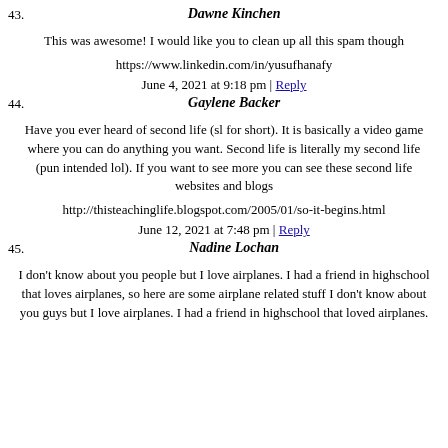43. Dawne Kinchen
This was awesome! I would like you to clean up all this spam though
https://www.linkedin.com/in/yusufhanafy
June 4, 2021 at 9:18 pm | Reply
44. Gaylene Backer
Have you ever heard of second life (sl for short). It is basically a video game where you can do anything you want. Second life is literally my second life (pun intended lol). If you want to see more you can see these second life websites and blogs
http://thisteachinglife.blogspot.com/2005/01/so-it-begins.html
June 12, 2021 at 7:48 pm | Reply
45. Nadine Lochan
I don't know about you people but I love airplanes. I had a friend in highschool that loves airplanes, so here are some airplane related stuff I don't know about you guys but I love airplanes. I had a friend in highschool that loved airplanes.